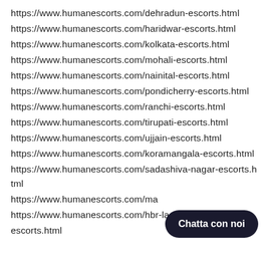https://www.humanescorts.com/dehradun-escorts.html
https://www.humanescorts.com/haridwar-escorts.html
https://www.humanescorts.com/kolkata-escorts.html
https://www.humanescorts.com/mohali-escorts.html
https://www.humanescorts.com/nainital-escorts.html
https://www.humanescorts.com/pondicherry-escorts.html
https://www.humanescorts.com/ranchi-escorts.html
https://www.humanescorts.com/tirupati-escorts.html
https://www.humanescorts.com/ujjain-escorts.html
https://www.humanescorts.com/koramangala-escorts.html
https://www.humanescorts.com/sadashiva-nagar-escorts.html
https://www.humanescorts.com/ma[obscured]
https://www.humanescorts.com/hbr-la[obscured]-escorts.html